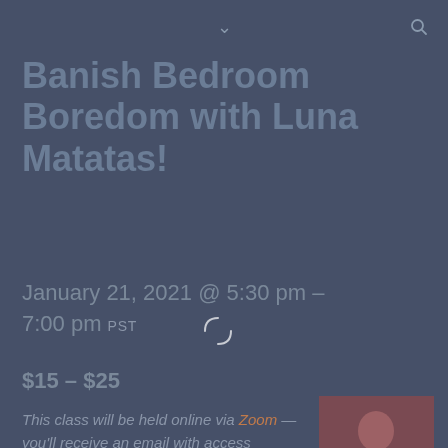∨  🔍
Banish Bedroom Boredom with Luna Matatas!
January 21, 2021 @ 5:30 pm – 7:00 pm PST
$15 – $25
This class will be held online via Zoom — you'll receive an email with access
[Figure (photo): Photo of Luna Matatas, a woman in a red outfit]